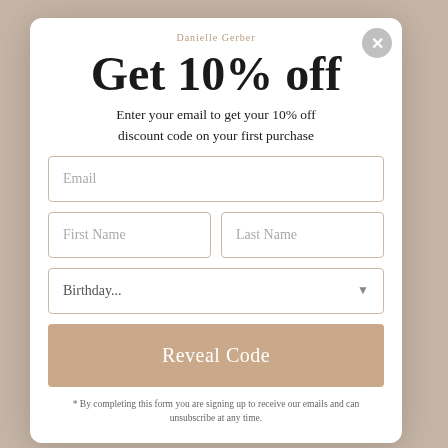Danielle Gerber
Get 10% off
Enter your email to get your 10% off discount code on your first purchase
[Figure (screenshot): Email input field with placeholder 'Email']
[Figure (screenshot): First Name and Last Name input fields side by side]
[Figure (screenshot): Birthday dropdown field]
Reveal Code
* By completing this form you are signing up to receive our emails and can unsubscribe at any time.